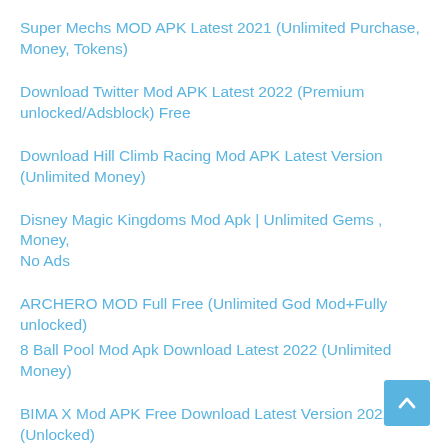Super Mechs MOD APK Latest 2021 (Unlimited Purchase, Money, Tokens)
Download Twitter Mod APK Latest 2022 (Premium unlocked/Adsblock) Free
Download Hill Climb Racing Mod APK Latest Version (Unlimited Money)
Disney Magic Kingdoms Mod Apk | Unlimited Gems , Money, No Ads
ARCHERO MOD Full Free (Unlimited God Mod+Fully unlocked)
8 Ball Pool Mod Apk Download Latest 2022 (Unlimited Money)
BIMA X Mod APK Free Download Latest Version 2022 (Unlocked)